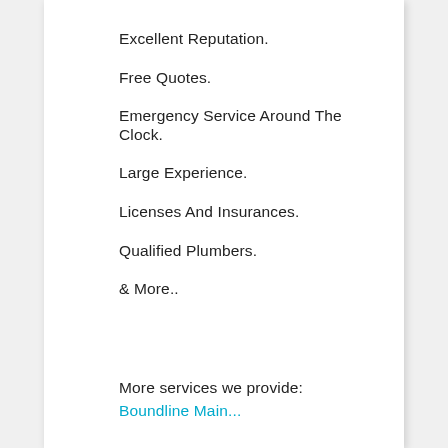Excellent Reputation.
Free Quotes.
Emergency Service Around The Clock.
Large Experience.
Licenses And Insurances.
Qualified Plumbers.
& More..
More services we provide: